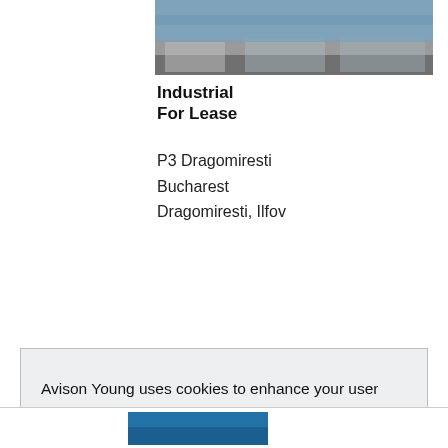[Figure (photo): Aerial or ground-level photo of an industrial warehouse/logistics facility]
Industrial
For Lease
P3 Dragomiresti
Bucharest
Dragomiresti, Ilfov
Avison Young uses cookies to enhance your user experience. We won't set optional cookies unless you enable them. To find out more, read our privacy policy.
Do not allow cookies
Allow cookies
[Figure (photo): Partial thumbnail of another property listing at the bottom of the page]